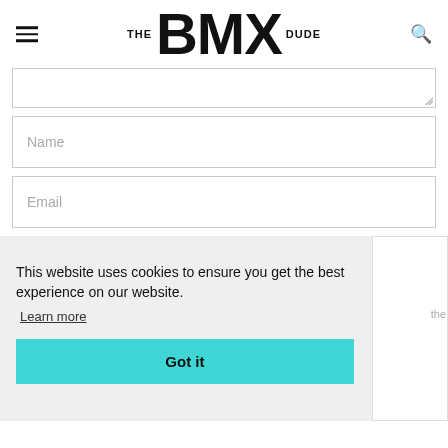THE BMX DUDE
[Figure (screenshot): Textarea input field (partially visible, with resize handle)]
[Figure (screenshot): Name input field with placeholder text 'Name']
[Figure (screenshot): Email input field with placeholder text 'Email']
This website uses cookies to ensure you get the best experience on our website.
Learn more
Got it